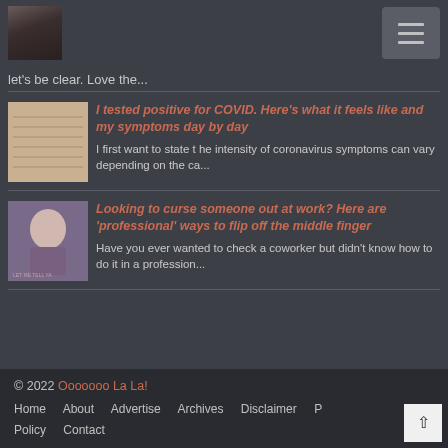let's be clear. Love the...
[Figure (photo): Profile photo of a woman]
[Figure (other): Hamburger menu button]
let's be clear. Love the...
[Figure (photo): Thumbnail image of handwritten notes for COVID article]
I tested positive for COVID. Here's what it feels like and my symptoms day by day
I first want to state t he intensity of coronavirus symptoms can vary depending on the ca...
[Figure (photo): Thumbnail image of a woman for workplace article]
Looking to curse someone out at work? Here are 'professional' ways to flip off the middle finger
Have you ever wanted to check a coworker but didn't know how to do it in a profession...
© 2022 Ooooooo La La! Home  About  Advertise  Archives  Disclaimer  Privacy Policy  Contact